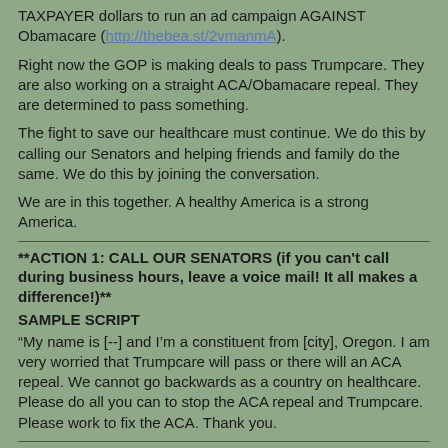TAXPAYER dollars to run an ad campaign AGAINST Obamacare (http://thebea.st/2vmanmA).
Right now the GOP is making deals to pass Trumpcare. They are also working on a straight ACA/Obamacare repeal. They are determined to pass something.
The fight to save our healthcare must continue. We do this by calling our Senators and helping friends and family do the same. We do this by joining the conversation.
We are in this together. A healthy America is a strong America.
**ACTION 1: CALL OUR SENATORS (if you can't call during business hours, leave a voice mail! It all makes a difference!)**
SAMPLE SCRIPT
“My name is [--] and I’m a constituent from [city], Oregon. I am very worried that Trumpcare will pass or there will an ACA repeal. We cannot go backwards as a country on healthcare. Please do all you can to stop the ACA repeal and Trumpcare. Please work to fix the ACA. Thank you.
**ACTION 2: HELP FRIENDS AND FAMILY IN RED STATES CALL SWING SENATORS.
Swing Senators are getting political pressure to ignore their constituents and vote for the ACA repeal or pass Trumpcare. Please